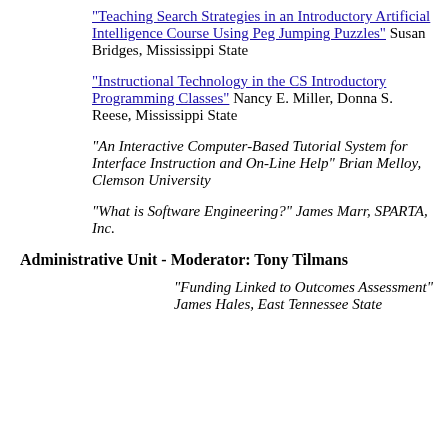"Teaching Search Strategies in an Introductory Artificial Intelligence Course Using Peg Jumping Puzzles" Susan Bridges, Mississippi State
"Instructional Technology in the CS Introductory Programming Classes" Nancy E. Miller, Donna S. Reese, Mississippi State
"An Interactive Computer-Based Tutorial System for Interface Instruction and On-Line Help" Brian Melloy, Clemson University
"What is Software Engineering?" James Marr, SPARTA, Inc.
Administrative Unit - Moderator: Tony Tilmans
"Funding Linked to Outcomes Assessment" James Hales, East Tennessee State